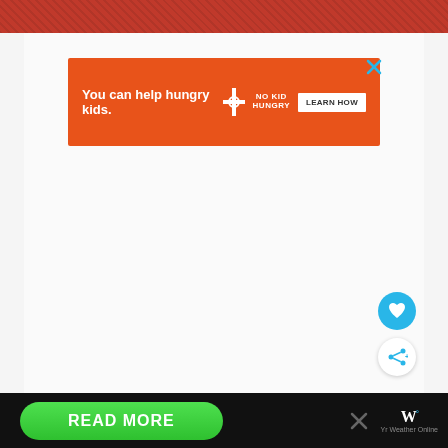[Figure (photo): Red textured fabric/jersey background banner at top of page]
[Figure (infographic): Orange advertisement banner: 'You can help hungry kids.' with No Kid Hungry logo and LEARN HOW button, with X close button]
[Figure (infographic): Circular blue heart/favorite button on right side]
[Figure (infographic): Circular white share button with share icon on right side]
[Figure (infographic): Black bottom bar with green READ MORE button, X close, and W degree weather app logo with 'Yr Weather Online' text]